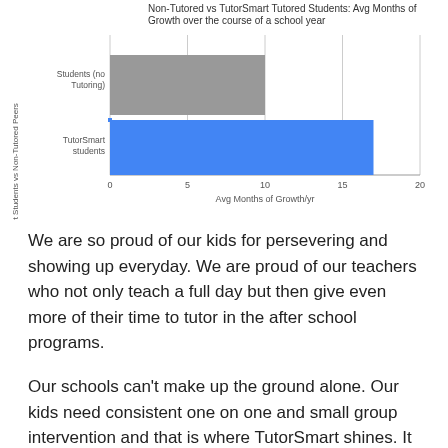[Figure (bar-chart): Non-Tutored vs TutorSmart Tutored Students: Avg Months of Growth over the course of a school year]
We are so proud of our kids for persevering and showing up everyday. We are proud of our teachers who not only teach a full day but then give even more of their time to tutor in the after school programs.
Our schools can't make up the ground alone. Our kids need consistent one on one and small group intervention and that is where TutorSmart shines. It will